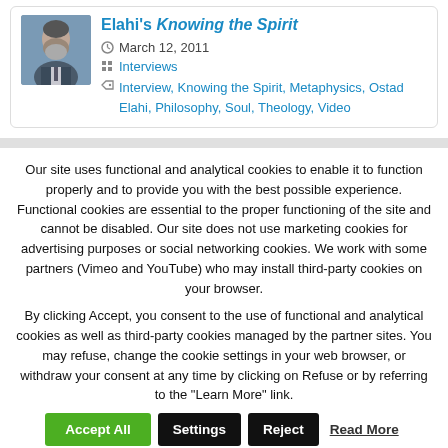Elahi's Knowing the Spirit
March 12, 2011
Interviews
Interview, Knowing the Spirit, Metaphysics, Ostad Elahi, Philosophy, Soul, Theology, Video
Our site uses functional and analytical cookies to enable it to function properly and to provide you with the best possible experience. Functional cookies are essential to the proper functioning of the site and cannot be disabled. Our site does not use marketing cookies for advertising purposes or social networking cookies. We work with some partners (Vimeo and YouTube) who may install third-party cookies on your browser.
By clicking Accept, you consent to the use of functional and analytical cookies as well as third-party cookies managed by the partner sites. You may refuse, change the cookie settings in your web browser, or withdraw your consent at any time by clicking on Refuse or by referring to the "Learn More" link.
Accept All | Settings | Reject | Read More